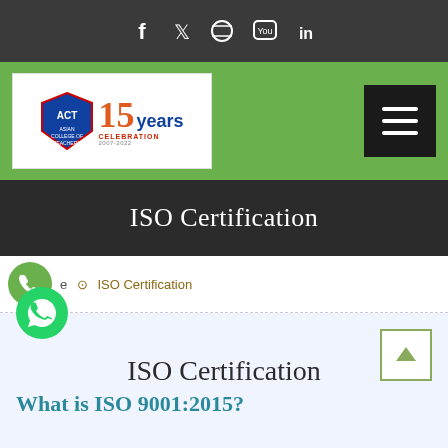[Figure (screenshot): Social media icon bar with Facebook, Twitter, Dribbble, YouTube, and LinkedIn icons on dark background]
[Figure (logo): Asian College of Teachers logo with 15 years celebration branding on green navigation bar with hamburger menu]
ISO Certification
e  ISO Certification
ISO Certification
What is ISO 9001:2015?